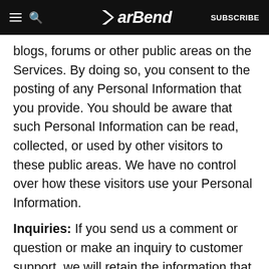BarBend — SUBSCRIBE
blogs, forums or other public areas on the Services. By doing so, you consent to the posting of any Personal Information that you provide. You should be aware that such Personal Information can be read, collected, or used by other visitors to these public areas. We have no control over how these visitors use your Personal Information.
Inquiries: If you send us a comment or question or make an inquiry to customer support, we will retain the information that you provide to us for the purpose of